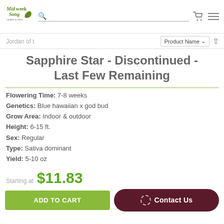[Figure (logo): Midweek Song cannabis brand logo with leaf icon]
Jordan of t
Product Name ▾ ↑
Sapphire Star - Discontinued - Last Few Remaining
Flowering Time: 7-8 weeks
Genetics: Blue hawaiian x god bud
Grow Area: Indoor & outdoor
Height: 6-15 ft.
Sex: Regular
Type: Sativa dominant
Yield: 5-10 oz
Starting at $11.83
ADD TO CART
Contact Us